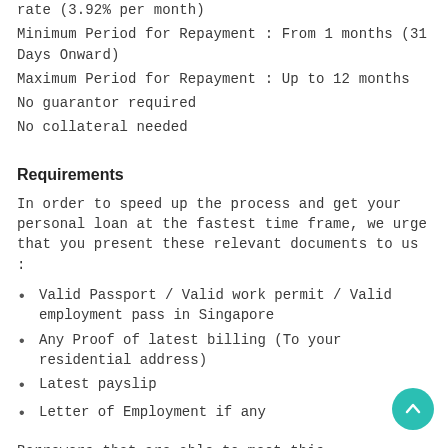rate (3.92% per month)
Minimum Period for Repayment : From 1 months (31 Days Onward)
Maximum Period for Repayment : Up to 12 months
No guarantor required
No collateral needed
Requirements
In order to speed up the process and get your personal loan at the fastest time frame, we urge that you present these relevant documents to us :
Valid Passport / Valid work permit / Valid employment pass in Singapore
Any Proof of latest billing (To your residential address)
Latest payslip
Letter of Employment if any
Borrowers that are able to meet this